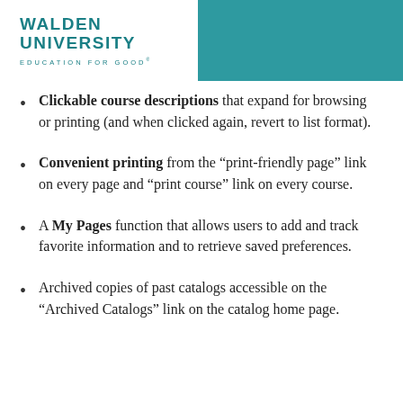[Figure (logo): Walden University logo with teal text and tagline 'Education for Good' on white background, set against a teal header bar]
Clickable course descriptions that expand for browsing or printing (and when clicked again, revert to list format).
Convenient printing from the “print-friendly page” link on every page and “print course” link on every course.
A My Pages function that allows users to add and track favorite information and to retrieve saved preferences.
Archived copies of past catalogs accessible on the “Archived Catalogs” link on the catalog home page.